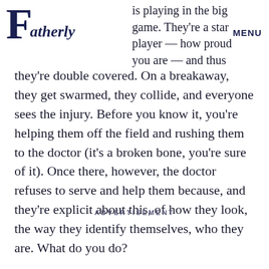Fatherly   MENU
is playing in the big game. They're a star player — how proud you are — and thus they're double covered. On a breakaway, they get swarmed, they collide, and everyone sees the injury. Before you know it, you're helping them off the field and rushing them to the doctor (it's a broken bone, you're sure of it). Once there, however, the doctor refuses to serve and help them because, and they're explicit about this, of how they look, the way they identify themselves, who they are. What do you do?
ADVERTISEMENT